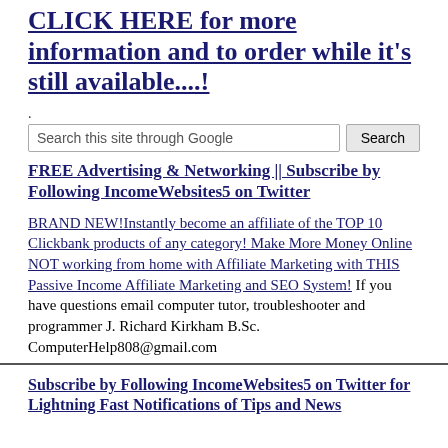CLICK HERE for more information and to order while it's still available....!
.
Search this site through Google | Search
FREE Advertising & Networking || Subscribe by Following IncomeWebsites5 on Twitter
BRAND NEW!Instantly become an affiliate of the TOP 10 Clickbank products of any category! Make More Money Online NOT working from home with Affiliate Marketing with THIS Passive Income Affiliate Marketing and SEO System! If you have questions email computer tutor, troubleshooter and programmer J. Richard Kirkham B.Sc. ComputerHelp808@gmail.com
Subscribe by Following IncomeWebsites5 on Twitter for Lightning Fast Notifications of Tips and News